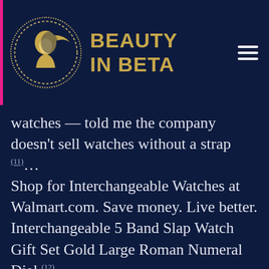BEAUTY IN BETA
watches — told me the company doesn't sell watches without a strap (11)...
Shop for Interchangeable Watches at Walmart.com. Save money. Live better. Interchangeable 5 Band Slap Watch Gift Set Gold Large Roman Numeral Dial.(12)...
But Apple doesn't give them a choice when it comes to buying a new Watch. Apple Watch doesn't give...